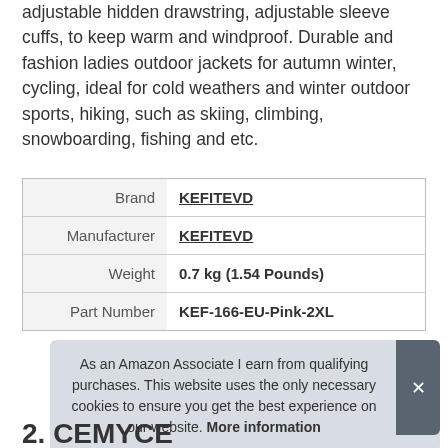adjustable hidden drawstring, adjustable sleeve cuffs, to keep warm and windproof. Durable and fashion ladies outdoor jackets for autumn winter, cycling, ideal for cold weathers and winter outdoor sports, hiking, such as skiing, climbing, snowboarding, fishing and etc.
|  |  |
| --- | --- |
| Brand | KEFITEVD |
| Manufacturer | KEFITEVD |
| Weight | 0.7 kg (1.54 Pounds) |
| Part Number | KEF-166-EU-Pink-2XL |
As an Amazon Associate I earn from qualifying purchases. This website uses the only necessary cookies to ensure you get the best experience on our website. More information
2. CEMYSE